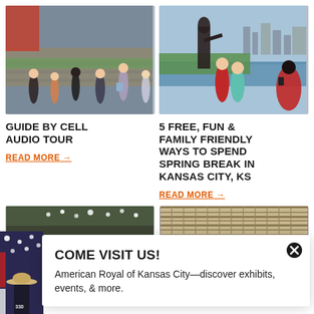[Figure (photo): Group of people on an outdoor audio tour near a stone wall and green lawn]
[Figure (photo): Two children posing near a bronze statue by a river with a city skyline]
GUIDE BY CELL AUDIO TOUR
READ MORE →
5 FREE, FUN & FAMILY FRIENDLY WAYS TO SPEND SPRING BREAK IN KANSAS CITY, KS
READ MORE →
[Figure (photo): Partial view of an indoor venue with overhead lights]
[Figure (photo): Partial view of a vintage sign or decorative surface]
[Figure (photo): Person wearing a cowboy hat and jacket numbered 330 inside a building]
COME VISIT US!
American Royal of Kansas City—discover exhibits, events, & more.